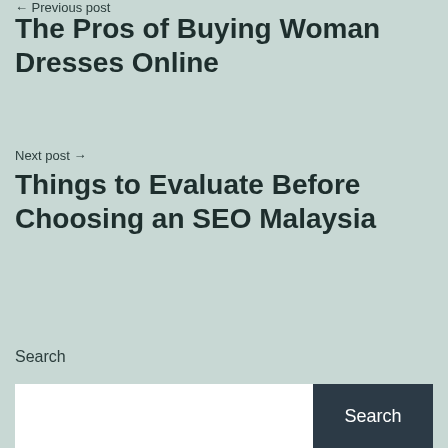← Previous post
The Pros of Buying Woman Dresses Online
Next post →
Things to Evaluate Before Choosing an SEO Malaysia
Search
Search